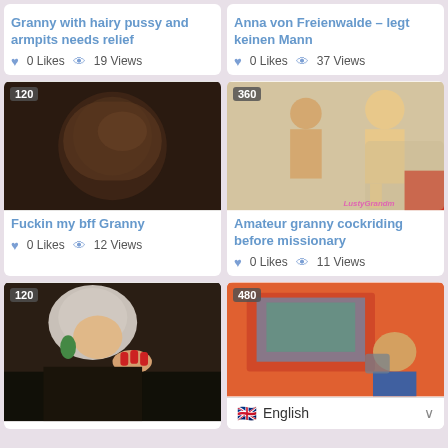Granny with hairy pussy and armpits needs relief
0 Likes  19 Views
Anna von Freienwalde – legt keinen Mann
0 Likes  37 Views
[Figure (photo): Video thumbnail with badge '120', dark close-up photo]
Fuckin my bff Granny
0 Likes  12 Views
[Figure (photo): Video thumbnail with badge '360', two people, LustyGrandma watermark]
Amateur granny cockriding before missionary
0 Likes  11 Views
[Figure (photo): Video thumbnail with badge '120', elderly woman with earrings]
[Figure (photo): Video thumbnail with badge '480', two people lying down]
English